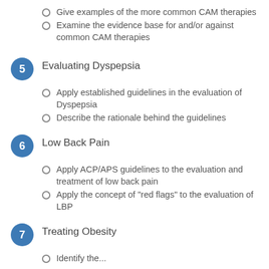Give examples of the more common CAM therapies
Examine the evidence base for and/or against common CAM therapies
5  Evaluating Dyspepsia
Apply established guidelines in the evaluation of Dyspepsia
Describe the rationale behind the guidelines
6  Low Back Pain
Apply ACP/APS guidelines to the evaluation and treatment of low back pain
Apply the concept of "red flags" to the evaluation of LBP
7  Treating Obesity
Identify the...